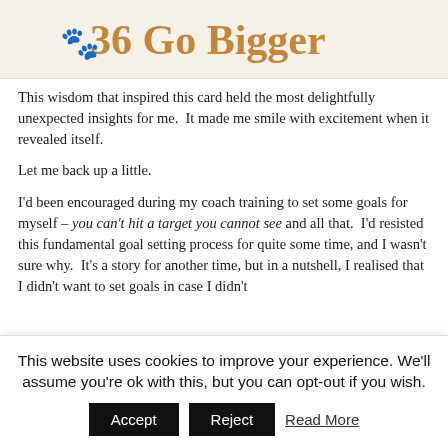[Figure (illustration): Banner image showing '36 Go Bigger' text with paw print icon in golden/brown color on a light beige background]
This wisdom that inspired this card held the most delightfully unexpected insights for me. It made me smile with excitement when it revealed itself.
Let me back up a little.
I'd been encouraged during my coach training to set some goals for myself – you can't hit a target you cannot see and all that. I'd resisted this fundamental goal setting process for quite some time, and I wasn't sure why. It's a story for another time, but in a nutshell, I realised that I didn't want to set goals in case I didn't
This website uses cookies to improve your experience. We'll assume you're ok with this, but you can opt-out if you wish.
Accept   Reject   Read More